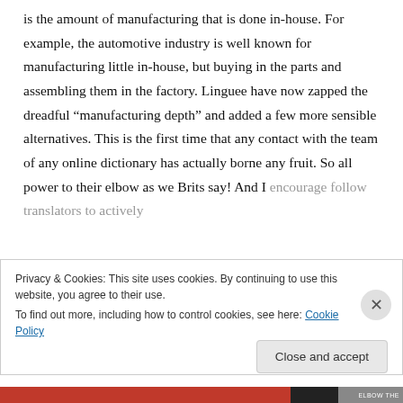is the amount of manufacturing that is done in-house. For example, the automotive industry is well known for manufacturing little in-house, but buying in the parts and assembling them in the factory. Linguee have now zapped the dreadful “manufacturing depth” and added a few more sensible alternatives. This is the first time that any contact with the team of any online dictionary has actually borne any fruit. So all power to their elbow as we Brits say! And I encourage follow translators to actively
Privacy & Cookies: This site uses cookies. By continuing to use this website, you agree to their use. To find out more, including how to control cookies, see here: Cookie Policy
Close and accept